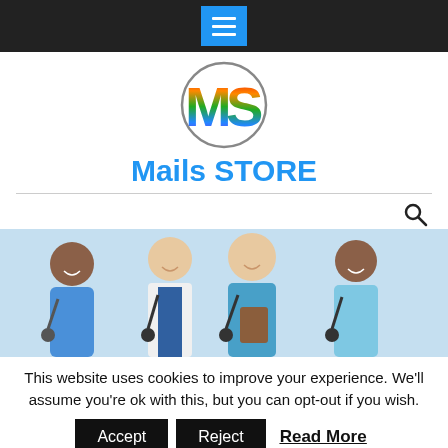Navigation bar with hamburger menu button
[Figure (logo): MS logo in a circle with rainbow-colored letters M and S]
Mails STORE
[Figure (photo): Group of smiling medical professionals in scrubs and white coats with stethoscopes]
This website uses cookies to improve your experience. We'll assume you're ok with this, but you can opt-out if you wish.
Accept  Reject  Read More